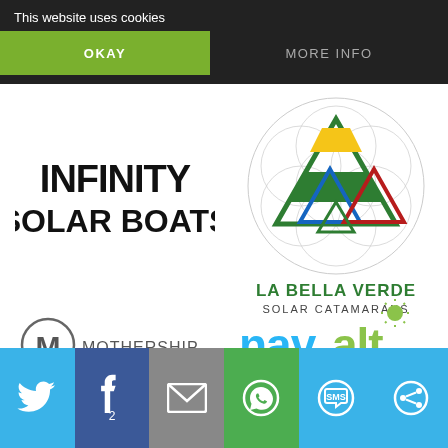This website uses cookies
OKAY
MORE INFO
[Figure (logo): Infinity Solar Boats logo — bold black text on white]
[Figure (logo): La Bella Verde Solar Catamarans logo — geometric triangles in green, blue, red, yellow inside a circle of life pattern, with green text]
[Figure (logo): Mothership logo — grey M monogram circle with MOTHERSHIP text]
[Figure (logo): Navalt logo — cyan/blue navalt text with sun icon and blue wave lines]
[Figure (infographic): Social sharing bar with Twitter, Facebook (2 shares), Email, WhatsApp, SMS, and share icons]